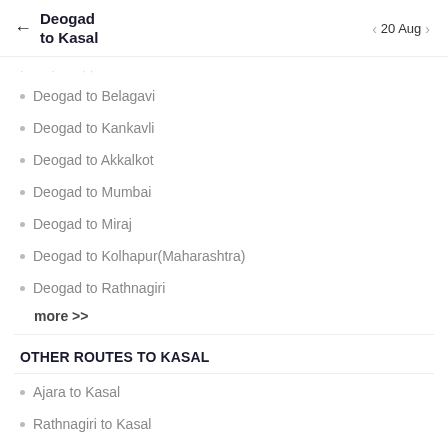← Deogad to Kasal   < 20 Aug >
Deogad to Belagavi
Deogad to Kankavli
Deogad to Akkalkot
Deogad to Mumbai
Deogad to Miraj
Deogad to Kolhapur(Maharashtra)
Deogad to Rathnagiri
more >>
OTHER ROUTES TO KASAL
Ajara to Kasal
Rathnagiri to Kasal